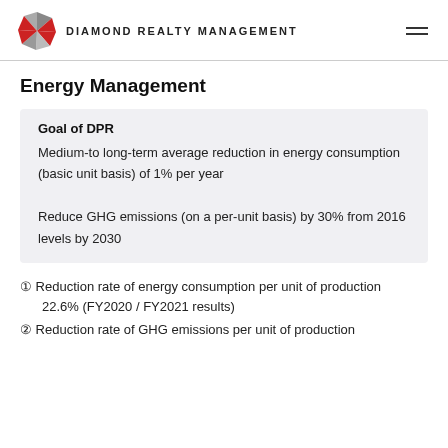DIAMOND REALTY MANAGEMENT
Energy Management
Goal of DPR
Medium-to long-term average reduction in energy consumption (basic unit basis) of 1% per year
Reduce GHG emissions (on a per-unit basis) by 30% from 2016 levels by 2030
① Reduction rate of energy consumption per unit of production
22.6% (FY2020 / FY2021 results)
② Reduction rate of GHG emissions per unit of production